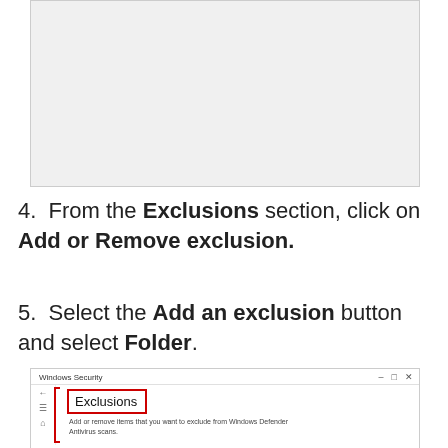[Figure (screenshot): Screenshot area (top, partially visible Windows Security window from previous step)]
4. From the Exclusions section, click on Add or Remove exclusion.
5. Select the Add an exclusion button and select Folder.
[Figure (screenshot): Windows Security window showing Exclusions section with red box highlight around 'Exclusions' heading and description text: 'Add or remove items that you want to exclude from Windows Defender Antivirus scans.']